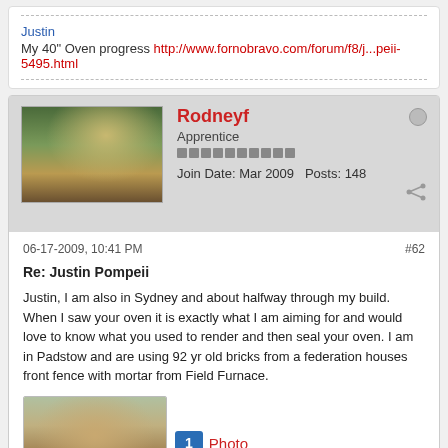Justin
My 40" Oven progress http://www.fornobravo.com/forum/f8/j...peii-5495.html
Rodneyf
Apprentice
Join Date: Mar 2009   Posts: 148
06-17-2009, 10:41 PM
#62
Re: Justin Pompeii
Justin, I am also in Sydney and about halfway through my build. When I saw your oven it is exactly what I am aiming for and would love to know what you used to render and then seal your oven. I am in Padstow and are using 92 yr old bricks from a federation houses front fence with mortar from Field Furnace.
[Figure (photo): Photo thumbnail of a brick arch structure/gate]
1  Photo